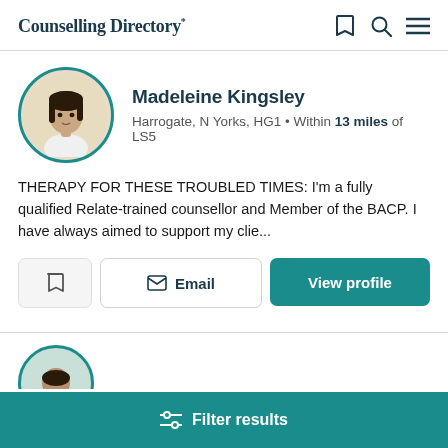Counselling Directory
Madeleine Kingsley
Harrogate, N Yorks, HG1 • Within 13 miles of LS5
THERAPY FOR THESE TROUBLED TIMES: I'm a fully qualified Relate-trained counsellor and Member of the BACP. I have always aimed to support my clie...
Email
View profile
Filter results